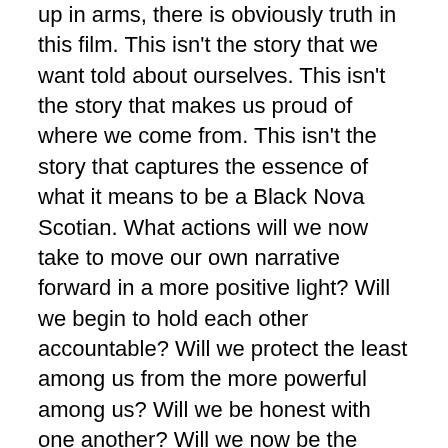up in arms, there is obviously truth in this film. This isn't the story that we want told about ourselves. This isn't the story that makes us proud of where we come from. This isn't the story that captures the essence of what it means to be a Black Nova Scotian. What actions will we now take to move our own narrative forward in a more positive light? Will we begin to hold each other accountable? Will we protect the least among us from the more powerful among us? Will we be honest with one another? Will we now be the community members that we say we are and speak openly to our neighbors about the ills that pervade and pervert the street corners of North Preston and do something to change them or will we simply be enraged until the next distraction comes along?
Despite the negative content of this film, I am not nor will I ever be ashamed of my home. I am proud of where I come